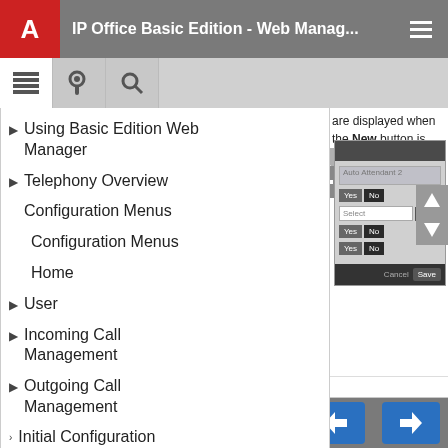IP Office Basic Edition - Web Manag...
[Figure (screenshot): Web management interface toolbar with list, key, and search icons]
Using Basic Edition Web Manager
Telephony Overview
Configuration Menus
Configuration Menus
Home
User
Incoming Call Management
Outgoing Call Management
Initial Configuration
Setting the Date and Time
Incoming Call Routing
are displayed when the New button is clicked on the list of existing auto
ber: Default = On for the first
Home | Contents | A+ | A- | Back | Forward